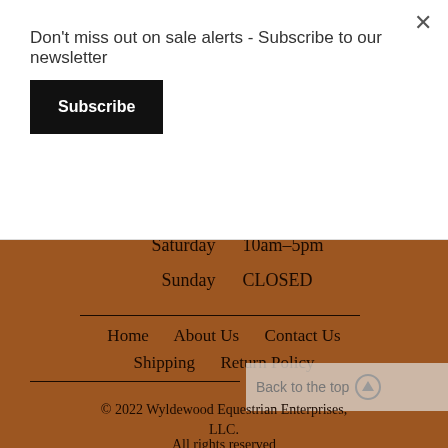Don't miss out on sale alerts - Subscribe to our newsletter
Subscribe
Mon – Fri    10am–5pm
Saturday    10am–5pm
Sunday    CLOSED
Home    About Us    Contact Us
Shipping    Return Policy
Back to the top
© 2022 Wyldewood Equestrian Enterprises, LLC.
All rights reserved